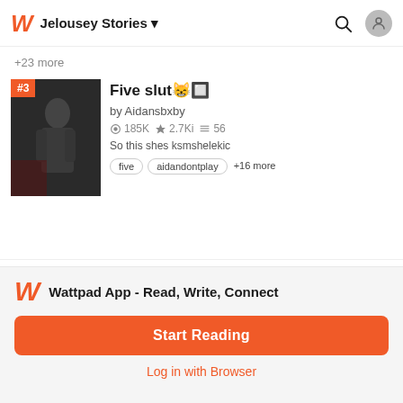Jelousey Stories
+23 more
[Figure (photo): Cover image for story #3 Five slut - dark moody photo of person in black]
Five slut 😸🔲
by Aidansbxby
⊙185K ★2.7Ki≡56
So this shes ksmshelekic
five  aidandontplay  +16 more
[Figure (photo): Cover image for story #4 The Mafia's Weakness - dark photo of person]
The Mafia's Weakness
by volleyball238
Wattpad App - Read, Write, Connect
Start Reading
Log in with Browser